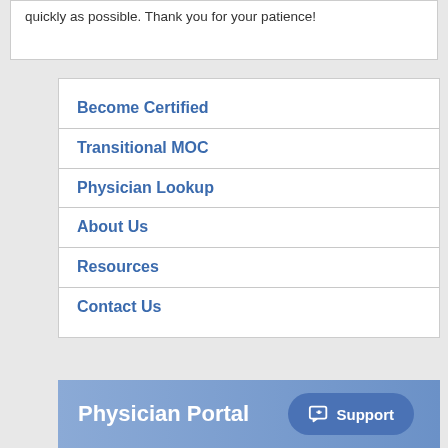quickly as possible. Thank you for your patience!
Become Certified
Transitional MOC
Physician Lookup
About Us
Resources
Contact Us
Physician Portal